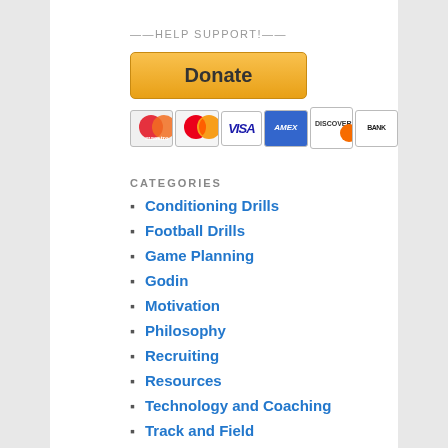——HELP SUPPORT!——
[Figure (other): PayPal Donate button with payment method icons (Maestro, Mastercard, Visa, American Express, Discover, Bank)]
CATEGORIES
Conditioning Drills
Football Drills
Game Planning
Godin
Motivation
Philosophy
Recruiting
Resources
Technology and Coaching
Track and Field
Uncategorized
workout program